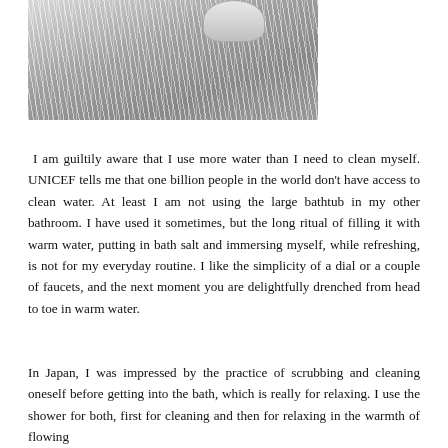[Figure (photo): Black and white photograph of a shower head with water streaming down, visible against a tiled background.]
I am guiltily aware that I use more water than I need to clean myself. UNICEF tells me that one billion people in the world don't have access to clean water. At least I am not using the large bathtub in my other bathroom. I have used it sometimes, but the long ritual of filling it with warm water, putting in bath salt and immersing myself, while refreshing, is not for my everyday routine. I like the simplicity of a dial or a couple of faucets, and the next moment you are delightfully drenched from head to toe in warm water.
In Japan, I was impressed by the practice of scrubbing and cleaning oneself before getting into the bath, which is really for relaxing. I use the shower for both, first for cleaning and then for relaxing in the warmth of flowing